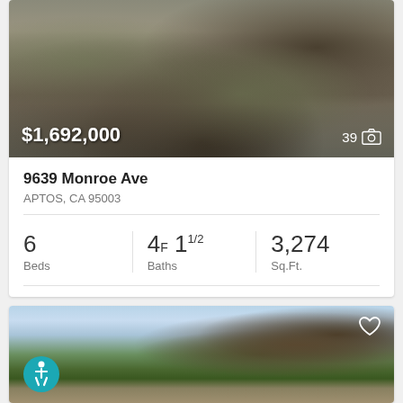[Figure (photo): Property photo of garden/patio area with stone steps, potted plants and flowers, with price overlay $1,692,000 and photo count 39]
9639 Monroe Ave
APTOS, CA 95003
6 Beds
4F 11/2 Baths
3,274 Sq.Ft.
Exp Realty Of California Inc
[Figure (photo): Second property listing photo showing coastal/ocean view with trees, water and hills in background, with heart icon and accessibility icon overlay]